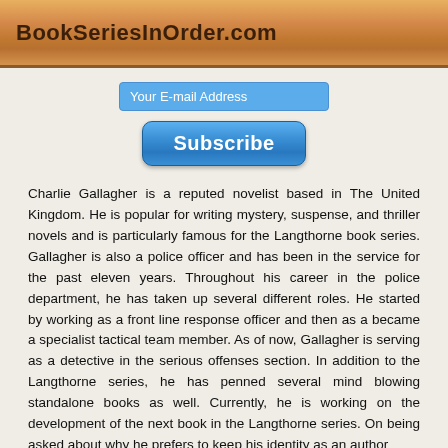BookSeriesInOrder.com
Your E-mail Address
Subscribe
Charlie Gallagher is a reputed novelist based in The United Kingdom. He is popular for writing mystery, suspense, and thriller novels and is particularly famous for the Langthorne book series. Gallagher is also a police officer and has been in the service for the past eleven years. Throughout his career in the police department, he has taken up several different roles. He started by working as a front line response officer and then as a became a specialist tactical team member. As of now, Gallagher is serving as a detective in the serious offenses section. In addition to the Langthorne series, he has penned several mind blowing standalone books as well. Currently, he is working on the development of the next book in the Langthorne series. On being asked about why he prefers to keep his identity as an author